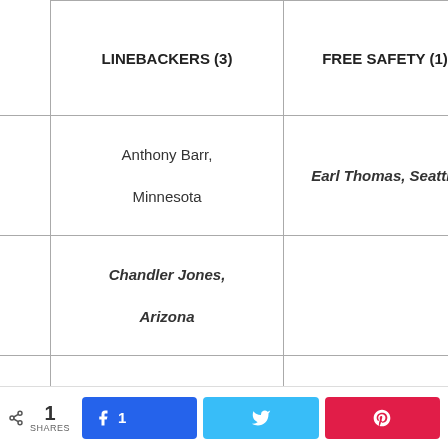|  | Left Column | Right Column |
| --- | --- | --- |
|  | LINEBACKERS (3) | FREE SAFETY (1) |
|  | Anthony Barr, Minnesota | Earl Thomas, Seattle |
|  | Chandler Jones, Arizona |  |
|  | Ryan Kerrigan, Washington | STRONG SAFETIES (2) |
|  |  | Landon Collins, New |
1 SHARES  [Facebook: 1]  [Twitter]  [Pinterest]